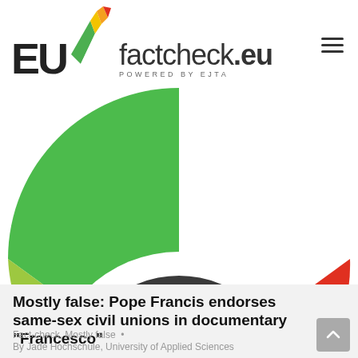EU factcheck.eu POWERED BY EJTA
[Figure (logo): EUfactcheck.eu logo with colorful gauge/meter icon and text 'POWERED BY EJTA']
[Figure (illustration): Circular meter/gauge with green, yellow, orange, and red segments and the text 'IONAL COLLABORATION' around the inner ring, cropped showing bottom portion]
Mostly false: Pope Francis endorses same-sex civil unions in documentary “Francesco”
Fact-check, Mostly false •
By Jade Hochschule, University of Applied Sciences